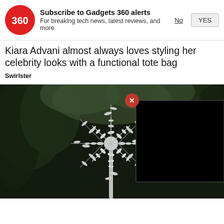[Figure (screenshot): Gadgets 360 subscription notification banner with red circular logo showing '360', bold title 'Subscribe to Gadgets 360 alerts', subtitle 'For breaking tech news, latest reviews, and more', and two buttons: 'No' (underlined text) and 'YES' (grey button)]
Kiara Advani almost always loves styling her celebrity looks with a functional tote bag
Swirlster
[Figure (photo): Outdoor photograph of a large kinetic metal sculpture — a spherical wind sculpture with many curved metal arms and disc-shaped elements radiating outward — set against a backdrop of dark evergreen trees. A black video overlay panel appears in the lower-right of the image with a red close (x) button in the upper-right corner of the overlay.]